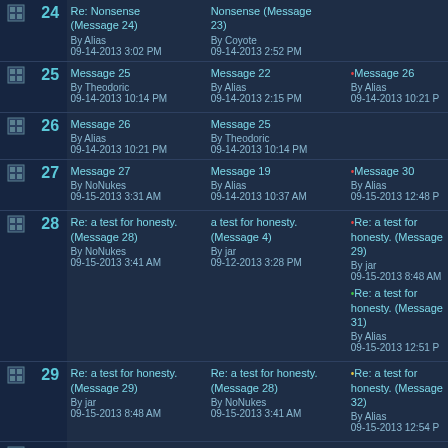|  | # | Subject | In Reply To | Latest Reply |
| --- | --- | --- | --- | --- |
| [icon] | 24 | Re: Nonsense (Message 24)
By Alias
09-14-2013 3:02 PM | Nonsense (Message 23)
By Coyote
09-14-2013 2:52 PM |  |
| [icon] | 25 | Message 25
By Theodoric
09-14-2013 10:14 PM | Message 22
By Alias
09-14-2013 2:15 PM | •Message 26
By Alias
09-14-2013 10:21 P |
| [icon] | 26 | Message 26
By Alias
09-14-2013 10:21 PM | Message 25
By Theodoric
09-14-2013 10:14 PM |  |
| [icon] | 27 | Message 27
By NoNukes
09-15-2013 3:31 AM | Message 19
By Alias
09-14-2013 10:37 AM | •Message 30
By Alias
09-15-2013 12:48 P |
| [icon] | 28 | Re: a test for honesty. (Message 28)
By NoNukes
09-15-2013 3:41 AM | a test for honesty. (Message 4)
By jar
09-12-2013 3:28 PM | •Re: a test for honesty. (Message 29)
By jar
09-15-2013 8:48 AM
•Re: a test for honesty. (Message 31)
By Alias
09-15-2013 12:51 P |
| [icon] | 29 | Re: a test for honesty. (Message 29)
By jar
09-15-2013 8:48 AM | Re: a test for honesty. (Message 28)
By NoNukes
09-15-2013 3:41 AM | •Re: a test for honesty. (Message 32)
By Alias
09-15-2013 12:54 P |
| [icon] | 30 | Message 30
By Alias
09-15-2013 12:48 PM | Message 27
By NoNukes
09-15-2013 3:31 AM |  |